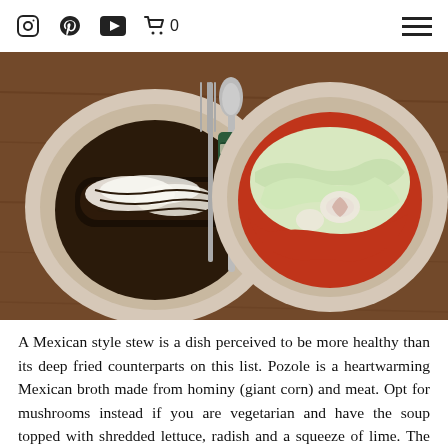[Instagram] [Pinterest] [YouTube] [Cart] 0  [Menu]
[Figure (photo): Overhead view of two dishes on a wooden table: on the left, a plate with enchiladas in mole sauce topped with white cheese; on the right, a bowl of pozole with shredded lettuce, radish slices in a red broth. Cutlery (fork and spoon) in the center.]
A Mexican style stew is a dish perceived to be more healthy than its deep fried counterparts on this list. Pozole is a heartwarming Mexican broth made from hominy (giant corn) and meat. Opt for mushrooms instead if you are vegetarian and have the soup topped with shredded lettuce, radish and a squeeze of lime. The broth has a real kick, it's smokey and spicy and every slurp leaves you wanting